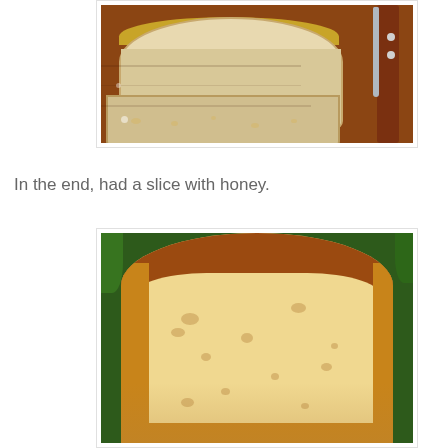[Figure (photo): Two slices of white/wheat bread on a wooden cutting board with a knife visible on the right side]
In the end, had a slice with honey.
[Figure (photo): A thick slice of homemade bread with a golden-brown crust and soft crumb interior, with green foliage visible in the background]